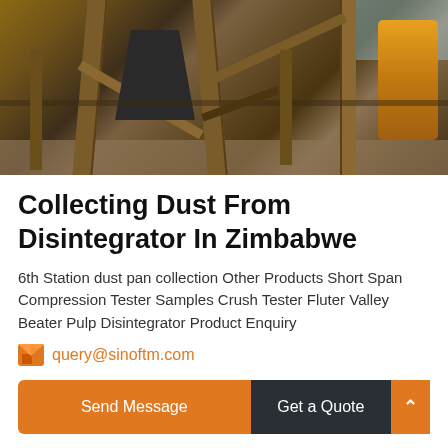[Figure (photo): Outdoor industrial equipment photo showing wooden-framed disintegrator/crusher machinery with a hopper, braced wooden support structure, dark metal components, and rocky ground. A yellow/orange machine is partially visible on the right side.]
Collecting Dust From Disintegrator In Zimbabwe
6th Station dust pan collection Other Products Short Span Compression Tester Samples Crush Tester Fluter Valley Beater Pulp Disintegrator Product Enquiry
query@sinoftm.com
Send Message  Get a Quote
2 the rule of thirds a portfolio is the summary of your lifes